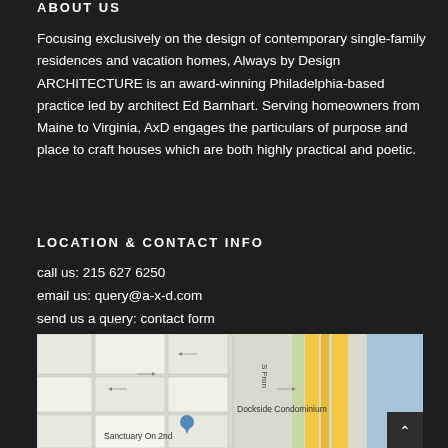ABOUT US
Focusing exclusively on the design of contemporary single-family residences and vacation homes, Always by Design ARCHITECTURE is an award-winning Philadelphia-based practice led by architect Ed Barnhart. Serving homeowners from Maine to Virginia, AxD engages the particulars of purpose and place to craft houses which are both highly practical and poetic.
LOCATION & CONTACT INFO
call us: 215 627 6250
email us: query@a-x-d.com
send us a query: contact form
[Figure (map): Street map showing location near Dockside Condominium and Sanctuary On 2nd in Philadelphia, with yellow highway road visible on right side.]